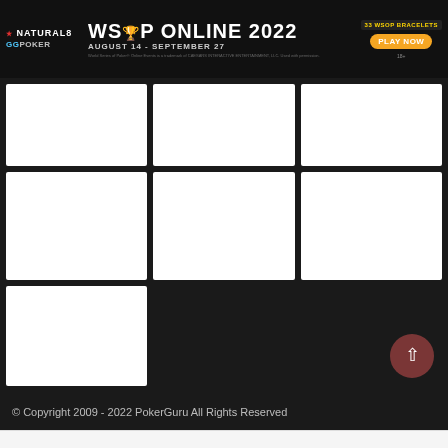[Figure (screenshot): WSOP Online 2022 promotional banner ad for Natural8 / GGPoker. Shows logos, title 'WSOP Online 2022', dates 'August 14 - September 27', '33 WSOP Bracelets', and 'Play Now' button.]
[Figure (screenshot): Grid of 7 white image placeholder boxes arranged in 3 rows on a dark background — 3 in row 1, 3 in row 2, 1 in row 3 (left).]
© Copyright 2009 - 2022 PokerGuru All Rights Reserved
[Figure (other): Scroll-to-top button (dark red circle with upward chevron arrow)]
HOME | LATEST SCORES | VIDEOS | MEMES | DEPOSIT OFFERS